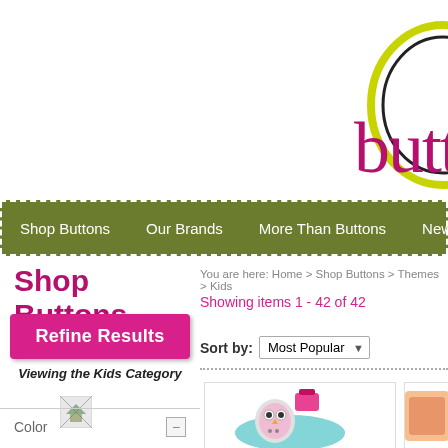[Figure (logo): Partial website logo showing a circle graphic and cursive/serif pink text 'butt' (cut off) on white background]
Shop Buttons | Our Brands | More Than Buttons | New P...
You are here: Home > Shop Buttons > Themes > Kids
Shop Buttons
Refine Results
Showing items 1 - 42 of 42
Viewing the Kids Category
Sort by: Most Popular
Color
[Figure (photo): Pink and teal decorative buttons with owl/figure design, product thumbnail]
[Figure (photo): Orange/salmon colored product thumbnail, partially visible]